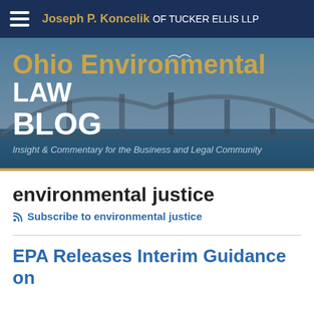Joseph P. Koncelik OF TUCKER ELLIS LLP
[Figure (photo): Hero banner with bridge photo background showing Ohio Environmental LAW BLOG with tagline Insight & Commentary for the Business and Legal Community]
Ohio Environmental LAW BLOG
Insight & Commentary for the Business and Legal Community
environmental justice
Subscribe to environmental justice
EPA Releases Interim Guidance on